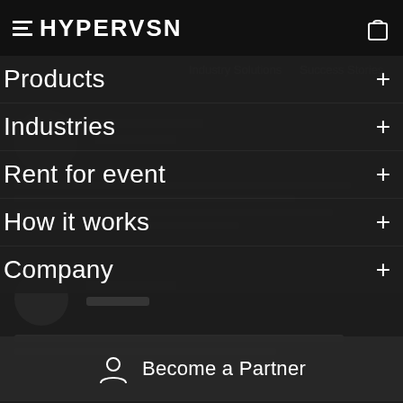HYPERVSN
Products +
Industries +
Rent for event +
How it works +
Company +
Become a Partner